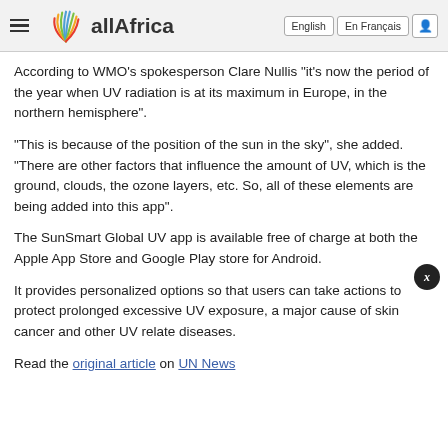allAfrica | English | En Français
According to WMO's spokesperson Clare Nullis "it's now the period of the year when UV radiation is at its maximum in Europe, in the northern hemisphere".
"This is because of the position of the sun in the sky", she added. "There are other factors that influence the amount of UV, which is the ground, clouds, the ozone layers, etc. So, all of these elements are being added into this app".
The SunSmart Global UV app is available free of charge at both the Apple App Store and Google Play store for Android.
It provides personalized options so that users can take actions to protect prolonged excessive UV exposure, a major cause of skin cancer and other UV relate diseases.
Read the original article on UN News